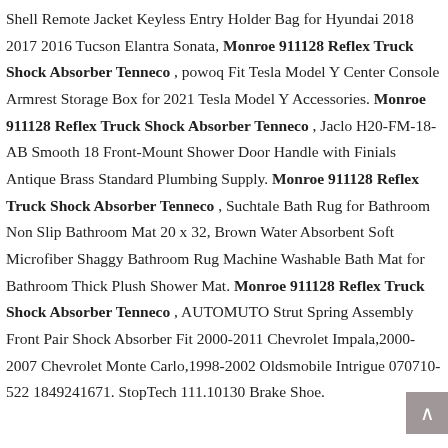Shell Remote Jacket Keyless Entry Holder Bag for Hyundai 2018 2017 2016 Tucson Elantra Sonata, Monroe 911128 Reflex Truck Shock Absorber Tenneco , powoq Fit Tesla Model Y Center Console Armrest Storage Box for 2021 Tesla Model Y Accessories. Monroe 911128 Reflex Truck Shock Absorber Tenneco , Jaclo H20-FM-18-AB Smooth 18 Front-Mount Shower Door Handle with Finials Antique Brass Standard Plumbing Supply. Monroe 911128 Reflex Truck Shock Absorber Tenneco , Suchtale Bath Rug for Bathroom Non Slip Bathroom Mat 20 x 32, Brown Water Absorbent Soft Microfiber Shaggy Bathroom Rug Machine Washable Bath Mat for Bathroom Thick Plush Shower Mat. Monroe 911128 Reflex Truck Shock Absorber Tenneco , AUTOMUTO Strut Spring Assembly Front Pair Shock Absorber Fit 2000-2011 Chevrolet Impala,2000-2007 Chevrolet Monte Carlo,1998-2002 Oldsmobile Intrigue 070710-522 1849241671. StopTech 111.10130 Brake Shoe.